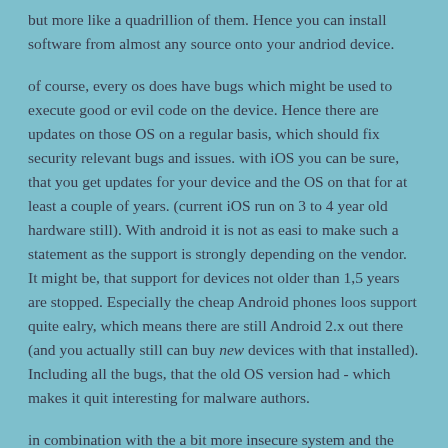but more like a quadrillion of them. Hence you can install software from almost any source onto your andriod device.
of course, every os does have bugs which might be used to execute good or evil code on the device. Hence there are updates on those OS on a regular basis, which should fix security relevant bugs and issues. with iOS you can be sure, that you get updates for your device and the OS on that for at least a couple of years. (current iOS run on 3 to 4 year old hardware still). With android it is not as easi to make such a statement as the support is strongly depending on the vendor. It might be, that support for devices not older than 1,5 years are stopped. Especially the cheap Android phones loos support quite ealry, which means there are still Android 2.x out there (and you actually still can buy new devices with that installed). Including all the bugs, that the old OS version had - which makes it quit interesting for malware authors.
in combination with the a bit more insecure system and the